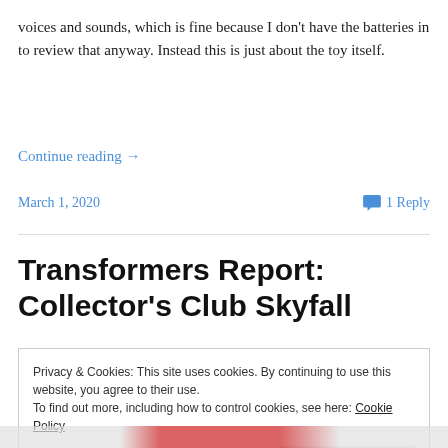voices and sounds, which is fine because I don't have the batteries in to review that anyway. Instead this is just about the toy itself.
Continue reading →
March 1, 2020
1 Reply
Transformers Report: Collector's Club Skyfall
Privacy & Cookies: This site uses cookies. By continuing to use this website, you agree to their use.
To find out more, including how to control cookies, see here: Cookie Policy
Close and accept